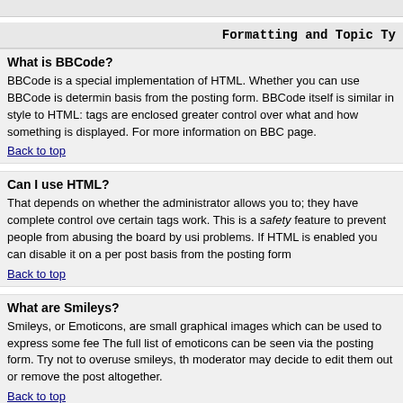Formatting and Topic Ty
What is BBCode?
BBCode is a special implementation of HTML. Whether you can use BBCode is determin basis from the posting form. BBCode itself is similar in style to HTML: tags are enclosed greater control over what and how something is displayed. For more information on BBC page.
Back to top
Can I use HTML?
That depends on whether the administrator allows you to; they have complete control ove certain tags work. This is a safety feature to prevent people from abusing the board by usi problems. If HTML is enabled you can disable it on a per post basis from the posting form
Back to top
What are Smileys?
Smileys, or Emoticons, are small graphical images which can be used to express some fee The full list of emoticons can be seen via the posting form. Try not to overuse smileys, th moderator may decide to edit them out or remove the post altogether.
Back to top
Can I post Images?
Images can indeed be shown in your posts. However, there is no facility at present for upl